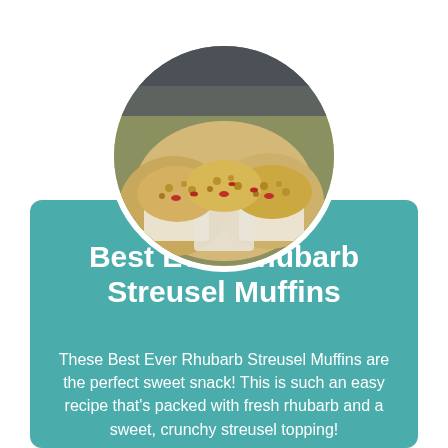[Figure (photo): Circular photo of rhubarb streusel muffins with crumble topping, shown close-up grouped together]
Best Ever Rhubarb Streusel Muffins
These Best Ever Rhubarb Streusel Muffins are the perfect sweet snack! This is such an easy recipe that's packed with fresh rhubarb and a sweet, crunchy streusel topping!